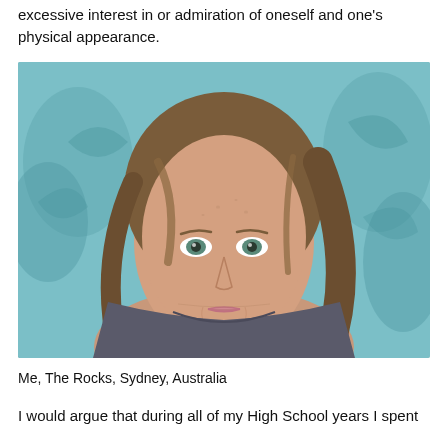excessive interest in or admiration of oneself and one's physical appearance.
[Figure (photo): Selfie of a woman with long brown hair, green eyes, wearing a dark grey t-shirt, taken indoors against a teal/blue patterned headboard background. Located in The Rocks, Sydney, Australia.]
Me, The Rocks, Sydney, Australia
I would argue that during all of my High School years I spent